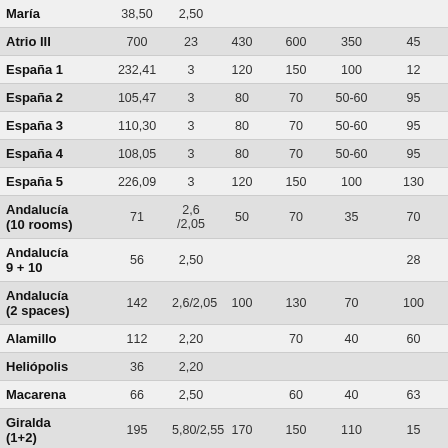| Room | m² | Height | Theatre | Banquet | Cocktail | Col6 |
| --- | --- | --- | --- | --- | --- | --- |
| María | 38,50 | 2,50 |  |  |  |  |
| Atrio III | 700 | 23 | 430 | 600 | 350 | 45… |
| España 1 | 232,41 | 3 | 120 | 150 | 100 | 12… |
| España 2 | 105,47 | 3 | 80 | 70 | 50-60 | 95… |
| España 3 | 110,30 | 3 | 80 | 70 | 50-60 | 95… |
| España 4 | 108,05 | 3 | 80 | 70 | 50-60 | 95… |
| España 5 | 226,09 | 3 | 120 | 150 | 100 | 13… |
| Andalucía (10 rooms) | 71 | 2,6 /2,05 | 50 | 70 | 35 | 70… |
| Andalucía 9 + 10 | 56 | 2,50 |  |  |  | 28… |
| Andalucía (2 spaces) | 142 | 2,6/2,05 | 100 | 130 | 70 | 10… |
| Alamillo | 112 | 2,20 |  | 70 | 40 | 60… |
| Heliópolis | 36 | 2,20 |  |  |  |  |
| Macarena | 66 | 2,50 |  | 60 | 40 | 63… |
| Giralda (1+2) | 195 | 5,80/2,55 | 170 | 150 | 110 | 15… |